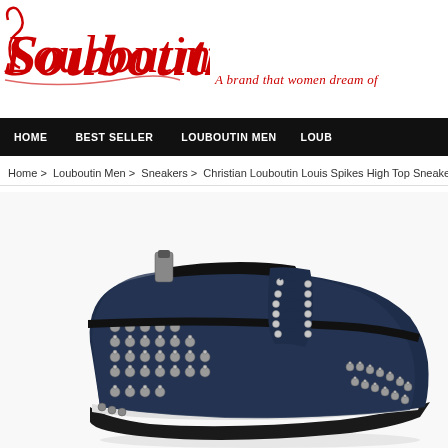[Figure (logo): Christian Louboutin red script logo]
A brand that women dream of
HOME   BEST SELLER   LOUBOUTIN MEN   LOUB
Home > Louboutin Men > Sneakers > Christian Louboutin Louis Spikes High Top Sneake
[Figure (photo): Christian Louboutin Louis Spikes High Top Sneaker in navy blue denim with silver spike studs and black leather trim, shown at an angle]